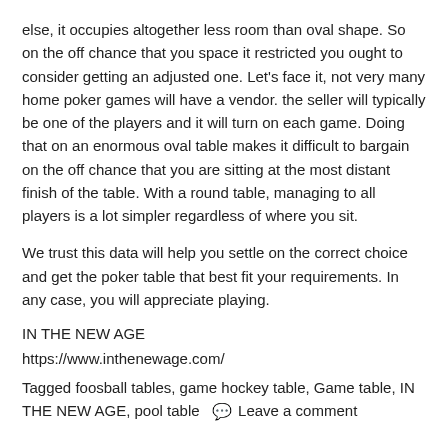else, it occupies altogether less room than oval shape. So on the off chance that you space it restricted you ought to consider getting an adjusted one. Let's face it, not very many home poker games will have a vendor. the seller will typically be one of the players and it will turn on each game. Doing that on an enormous oval table makes it difficult to bargain on the off chance that you are sitting at the most distant finish of the table. With a round table, managing to all players is a lot simpler regardless of where you sit.
We trust this data will help you settle on the correct choice and get the poker table that best fit your requirements. In any case, you will appreciate playing.
IN THE NEW AGE
https://www.inthenewage.com/
Tagged foosball tables, game hockey table, Game table, IN THE NEW AGE, pool table  🗨 Leave a comment